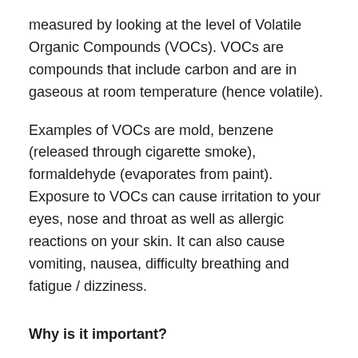measured by looking at the level of Volatile Organic Compounds (VOCs). VOCs are compounds that include carbon and are in gaseous at room temperature (hence volatile).
Examples of VOCs are mold, benzene (released through cigarette smoke), formaldehyde (evaporates from paint). Exposure to VOCs can cause irritation to your eyes, nose and throat as well as allergic reactions on your skin. It can also cause vomiting, nausea, difficulty breathing and fatigue / dizziness.
Why is it important?
According to the United States Environmental Protection Agency (EPA), concentrations of VOCs in indoor air are 2 to 5 times greater than in outdoor air and sometimes far greater.
Put that together with the fact that in the UAE, over 90% of